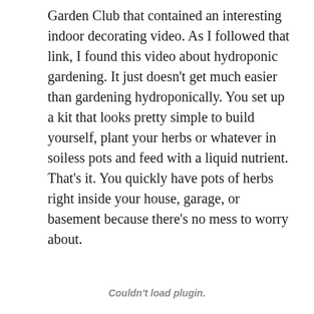Garden Club that contained an interesting indoor decorating video. As I followed that link, I found this video about hydroponic gardening. It just doesn't get much easier than gardening hydroponically. You set up a kit that looks pretty simple to build yourself, plant your herbs or whatever in soiless pots and feed with a liquid nutrient. That's it. You quickly have pots of herbs right inside your house, garage, or basement because there's no mess to worry about.
Couldn't load plugin.